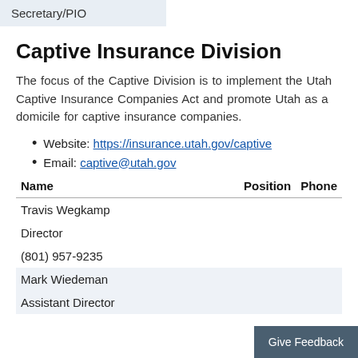Secretary/PIO
Captive Insurance Division
The focus of the Captive Division is to implement the Utah Captive Insurance Companies Act and promote Utah as a domicile for captive insurance companies.
Website: https://insurance.utah.gov/captive
Email: captive@utah.gov
| Name | Position | Phone |
| --- | --- | --- |
| Travis Wegkamp |  |  |
| Director |  |  |
| (801) 957-9235 |  |  |
| Mark Wiedeman |  |  |
| Assistant Director |  |  |